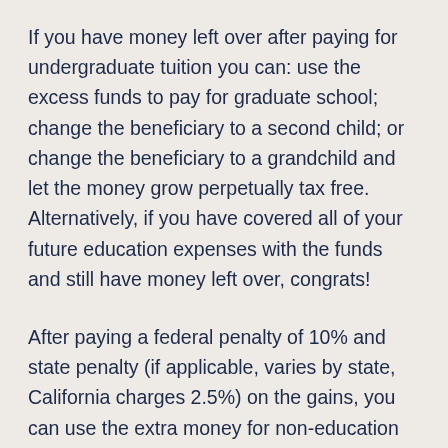If you have money left over after paying for undergraduate tuition you can: use the excess funds to pay for graduate school; change the beneficiary to a second child; or change the beneficiary to a grandchild and let the money grow perpetually tax free. Alternatively, if you have covered all of your future education expenses with the funds and still have money left over, congrats!
After paying a federal penalty of 10% and state penalty (if applicable, varies by state, California charges 2.5%) on the gains, you can use the extra money for non-education purposes. You have to pay income taxes...